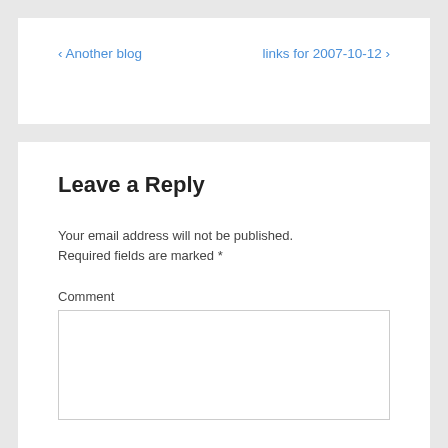‹ Another blog
links for 2007-10-12 ›
Leave a Reply
Your email address will not be published. Required fields are marked *
Comment